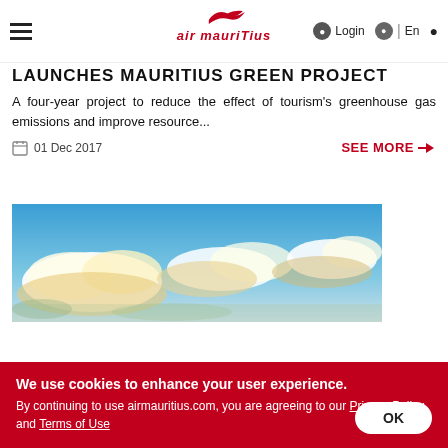Air Mauritius — navigation header with hamburger menu, logo, Login, En, search
LAUNCHES MAURITIUS GREEN PROJECT
A four-year project to reduce the effect of tourism's greenhouse gas emissions and improve resource...
01 Dec 2017  SEE MORE →
[Figure (photo): Sky with clouds, blue sky background, panoramic landscape photo]
We use cookies to enhance your user experience. By continuing to use airmauritius.com, you are agreeing to our Privacy Policy and Terms of Use
OK